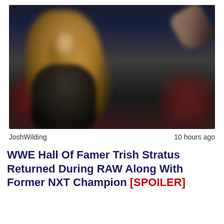[Figure (photo): Blurred photo of a blonde woman (Trish Stratus) raising her arm at a WWE RAW event, with a dark arena background and red crowd lighting]
JoshWilding    10 hours ago
WWE Hall Of Famer Trish Stratus Returned During RAW Along With Former NXT Champion [SPOILER]